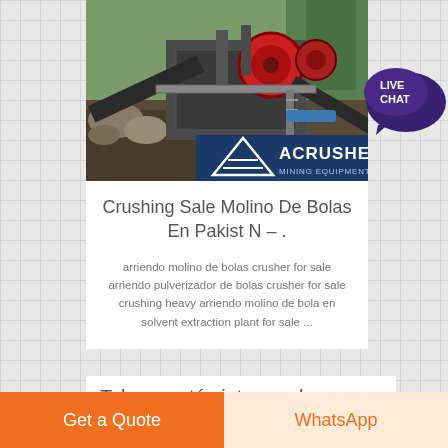[Figure (photo): Mining/crushing equipment at a quarry site with ACRUSHER MINING EQUIPMENT logo overlay]
Crushing Sale Molino De Bolas En Pakist N – .
arriendo molino de bolas crusher for sale arriendo pulverizador de bolas crusher for sale crushing heavy arriendo molino de bola en solvent extraction plant for sale ...
Tal vez estés interesado
[Figure (illustration): Live Chat speech bubble icon with LIVE CHAT text]
Get a Quote
WhatsApp